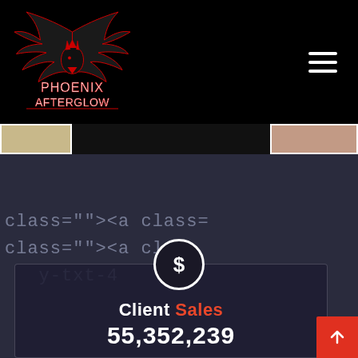[Figure (logo): Phoenix Afterglow logo — stylized phoenix/eagle with wings, red and white on black, text reads PHOENIX AFTERGLOW]
[Figure (screenshot): Hamburger menu icon (three horizontal white lines) in top-right corner on black background]
[Figure (photo): Thumbnail strip showing three partial images: left is a document/white background image, center is dark/black, right shows skin-toned content]
[Figure (screenshot): Dark blue/purple background with blurred HTML code text (class=, <a class=) visible, overlaid with a card widget]
[Figure (infographic): Dollar sign circle icon centered above a dark card showing Client Sales metric]
Client Sales
55,352,239